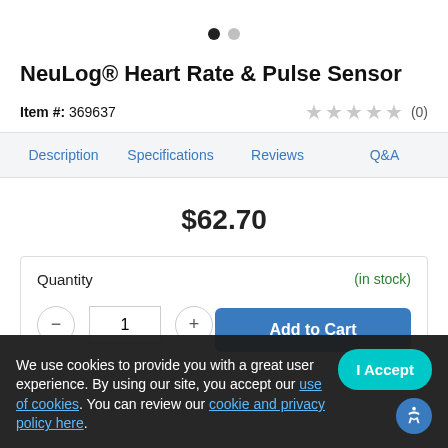[Figure (other): Pagination dots: one filled black dot and one grey dot indicating a carousel position]
NeuLog® Heart Rate & Pulse Sensor
Item #: 369637
★★★★★ (0)
Description
Specifications
Reviews
Q&A
$62.70
Quantity
(in stock)
Add to Cart
We use cookies to provide you with a great user experience. By using our site, you accept our use of cookies. You can review our cookie and privacy policy here.